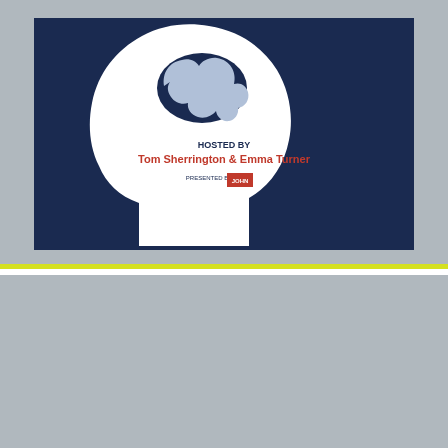[Figure (illustration): Dark navy blue poster with a white silhouette of a human head in profile facing right. Inside the head is a stylized brain graphic. Text on the poster reads 'HOSTED BY Tom Sherrington & Emma Turner' and 'PRESENTED BY John Catt' with a logo. The poster is set against a grey background.]
@teacherhead consulting Contact me